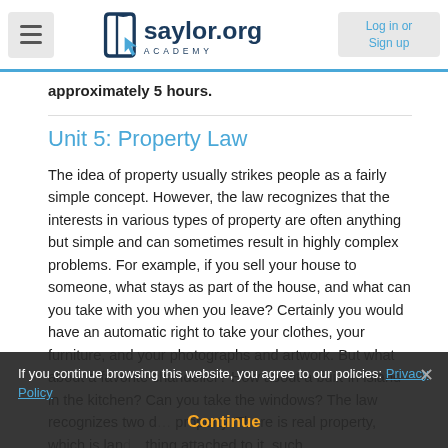saylor.org Academy — Log in or Sign up
approximately 5 hours.
Unit 5: Property Law
The idea of property usually strikes people as a fairly simple concept. However, the law recognizes that the interests in various types of property are often anything but simple and can sometimes result in highly complex problems. For example, if you sell your house to someone, what stays as part of the house, and what can you take with you when you leave? Certainly you would have an automatic right to take your clothes, your furniture, and your photographs and artwork. But what about a favorite chandelier? How about a built-in island in the kitchen? Can you take the windows? The law recognizes two d… property. There is real property, which is land… thing attached to it, such
If you continue browsing this website, you agree to our policies: Privacy Policy
Continue